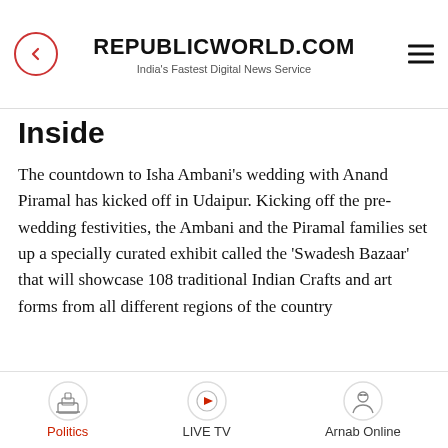REPUBLICWORLD.COM
India's Fastest Digital News Service
Inside
The countdown to Isha Ambani's wedding with Anand Piramal has kicked off in Udaipur. Kicking off the pre-wedding festivities, the Ambani and the Piramal families set up a specially curated exhibit called the 'Swadesh Bazaar' that will showcase 108 traditional Indian Crafts and art forms from all different regions of the country
Written by: Radhika Sarkar
Updated Dec 8 , 2018 2:09 PM
Politics | LIVE TV | Arnab Online